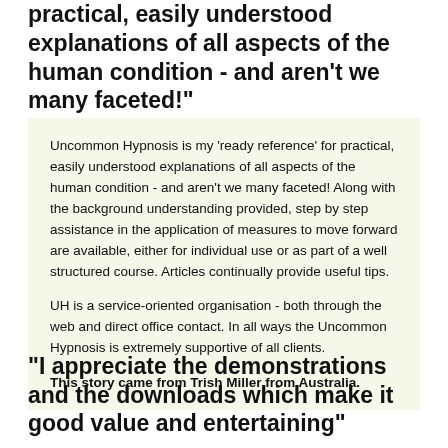practical, easily understood explanations of all aspects of the human condition - and aren't we many faceted!"
Uncommon Hypnosis is my 'ready reference' for practical, easily understood explanations of all aspects of the human condition - and aren't we many faceted! Along with the background understanding provided, step by step assistance in the application of measures to move forward are available, either for individual use or as part of a well structured course. Articles continually provide useful tips.

UH is a service-oriented organisation - both through the web and direct office contact. In all ways the Uncommon Hypnosis is extremely supportive of all clients.

This story came from Trish Miller from Australia.
"I appreciate the demonstrations and the downloads which make it good value and entertaining"